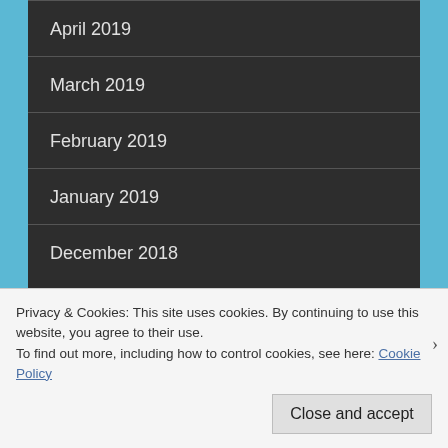April 2019
March 2019
February 2019
January 2019
December 2018
November 2018
October 2018
Privacy & Cookies: This site uses cookies. By continuing to use this website, you agree to their use.
To find out more, including how to control cookies, see here: Cookie Policy
Close and accept